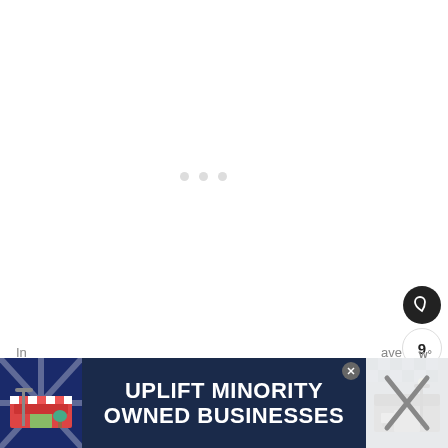[Figure (screenshot): White content area with three small light gray dots in the center area, indicating a loading or carousel state. Right side has dark circular heart/like button, a count button showing 9, and a share button.]
[Figure (infographic): Advertisement banner: 'UPLIFT MINORITY OWNED BUSINESSES' on dark navy background with illustrated storefront graphics on left and right sides. Has close X buttons.]
In
ave
9
UPLIFT MINORITY OWNED BUSINESSES